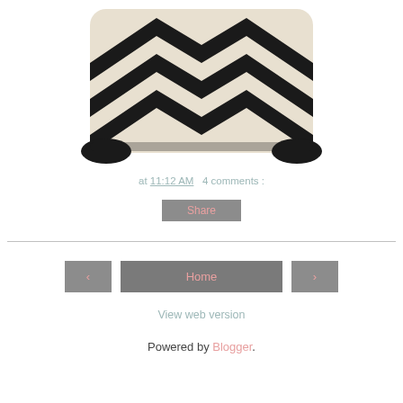[Figure (photo): A black and white chevron zigzag patterned fabric bag/pillow, shown against white background]
at 11:12 AM   4 comments :
Share
‹   Home   ›
View web version
Powered by Blogger.